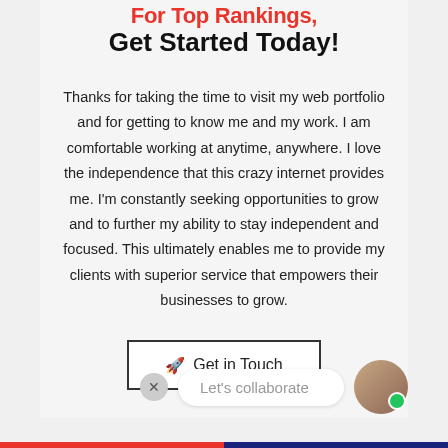Get Started Today!
Thanks for taking the time to visit my web portfolio and for getting to know me and my work. I am comfortable working at anytime, anywhere. I love the independence that this crazy internet provides me. I'm constantly seeking opportunities to grow and to further my ability to stay independent and focused. This ultimately enables me to provide my clients with superior service that empowers their businesses to grow.
Get in Touch
Let's collaborate